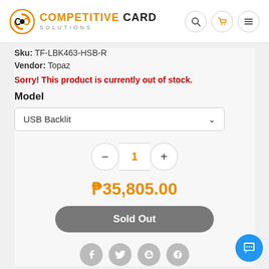[Figure (logo): Competitive Card Solutions logo with orange circular icon and text]
Sku: TF-LBK463-HSB-R
Vendor: Topaz
Sorry! This product is currently out of stock.
Model
USB Backlit
1
₱35,805.00
Sold Out